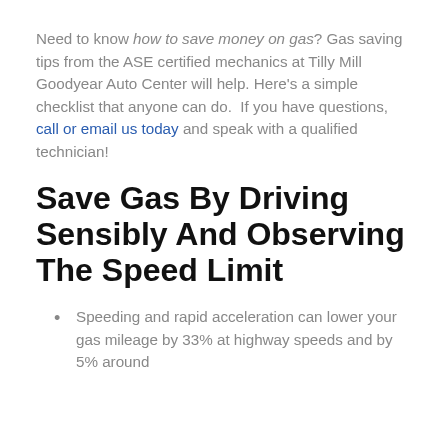Need to know how to save money on gas? Gas saving tips from the ASE certified mechanics at Tilly Mill Goodyear Auto Center will help. Here's a simple checklist that anyone can do. If you have questions, call or email us today and speak with a qualified technician!
Save Gas By Driving Sensibly And Observing The Speed Limit
Speeding and rapid acceleration can lower your gas mileage by 33% at highway speeds and by 5% around